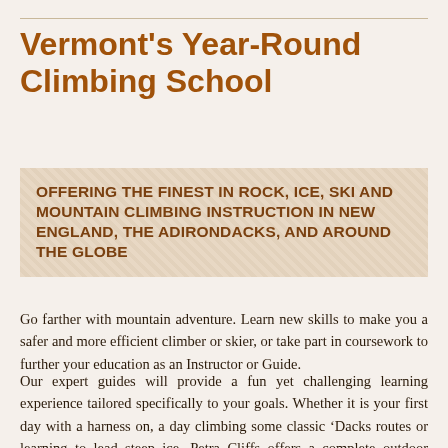Vermont's Year-Round Climbing School
OFFERING THE FINEST IN ROCK, ICE, SKI AND MOUNTAIN CLIMBING INSTRUCTION IN NEW ENGLAND, THE ADIRONDACKS, AND AROUND THE GLOBE
Go farther with mountain adventure. Learn new skills to make you a safer and more efficient climber or skier, or take part in coursework to further your education as an Instructor or Guide.
Our expert guides will provide a fun yet challenging learning experience tailored specifically to your goals. Whether it is your first day with a harness on, a day climbing some classic ‘Dacks routes or learning to lead steep ice, Petra Cliffs offers a complete outdoor instruction curriculum, catering to groups of